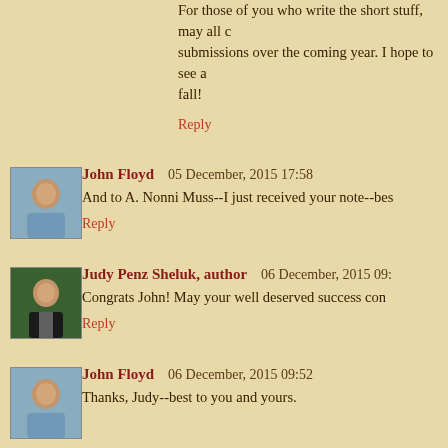For those of you who write the short stuff, may all of your submissions over the coming year. I hope to see a fall!
Reply
John Floyd   05 December, 2015 17:58
And to A. Nonni Muss--I just received your note--bes
Reply
Judy Penz Sheluk, author   06 December, 2015 09:
Congrats John! May your well deserved success con
Reply
John Floyd   06 December, 2015 09:52
Thanks, Judy--best to you and yours.